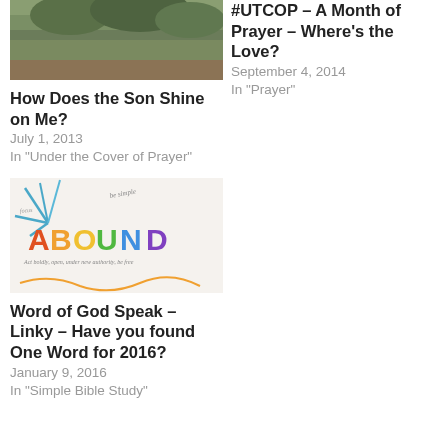[Figure (photo): Outdoor/nature image thumbnail (green foliage/landscape)]
How Does the Son Shine on Me?
July 1, 2013
In "Under the Cover of Prayer"
#UTCOP – A Month of Prayer – Where's the Love?
September 4, 2014
In "Prayer"
[Figure (photo): Colorful hand-lettered ABOUND word art image]
Word of God Speak – Linky – Have you found One Word for 2016?
January 9, 2016
In "Simple Bible Study"